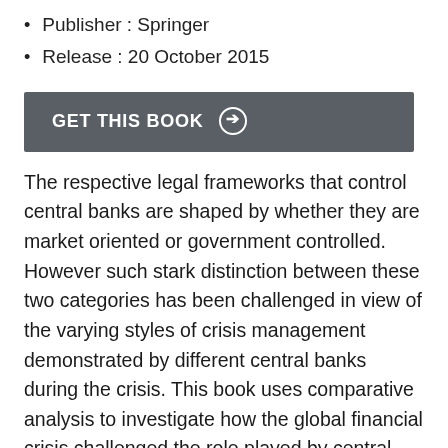Publisher : Springer
Release : 20 October 2015
[Figure (other): A dark grey button labeled 'GET THIS BOOK' with a circled arrow icon]
The respective legal frameworks that control central banks are shaped by whether they are market oriented or government controlled. However such stark distinction between these two categories has been challenged in view of the varying styles of crisis management demonstrated by different central banks during the crisis. This book uses comparative analysis to investigate how the global financial crisis challenged the role played by central banks in maintaining financial stability. Focusing on four central banks including the US Federal